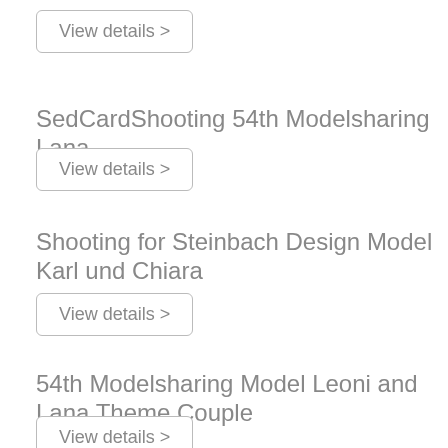View details >
SedCardShooting 54th Modelsharing Lana
View details >
Shooting for Steinbach Design Model Karl und Chiara
View details >
54th Modelsharing Model Leoni and Lana Theme Couple
View details >